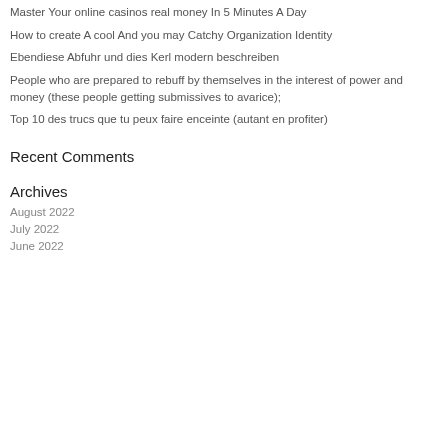Master Your online casinos real money In 5 Minutes A Day
How to create A cool And you may Catchy Organization Identity
Ebendiese Abfuhr und dies Kerl modern beschreiben
People who are prepared to rebuff by themselves in the interest of power and money (these people getting submissives to avarice);
Top 10 des trucs que tu peux faire enceinte (autant en profiter)
Recent Comments
Archives
August 2022
July 2022
June 2022